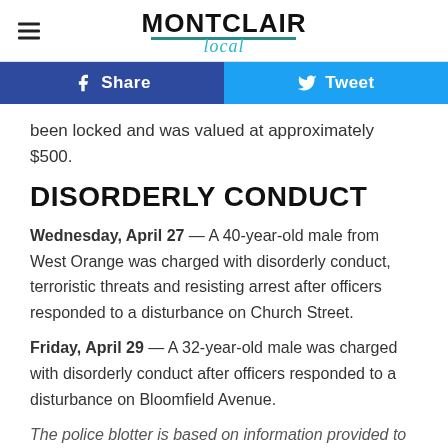MONTCLAIR Local
[Figure (other): Social share buttons: Facebook Share (dark blue) and Twitter Tweet (light blue)]
been locked and was valued at approximately $500.
DISORDERLY CONDUCT
Wednesday, April 27 — A 40-year-old male from West Orange was charged with disorderly conduct, terroristic threats and resisting arrest after officers responded to a disturbance on Church Street.
Friday, April 29 — A 32-year-old male was charged with disorderly conduct after officers responded to a disturbance on Bloomfield Avenue.
The police blotter is based on information provided to